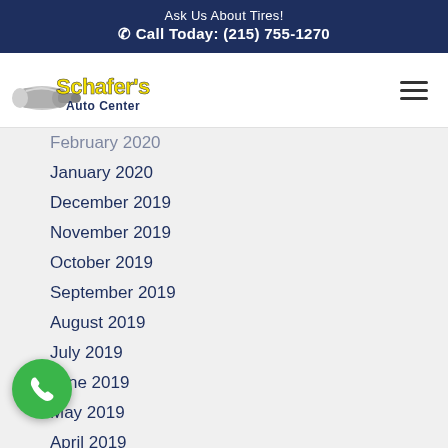Ask Us About Tires!
☎ Call Today: (215) 755-1270
[Figure (logo): Schafer's Auto Center logo with muffler graphic and yellow text]
February 2020
January 2020
December 2019
November 2019
October 2019
September 2019
August 2019
July 2019
June 2019
May 2019
April 2019
March 2019